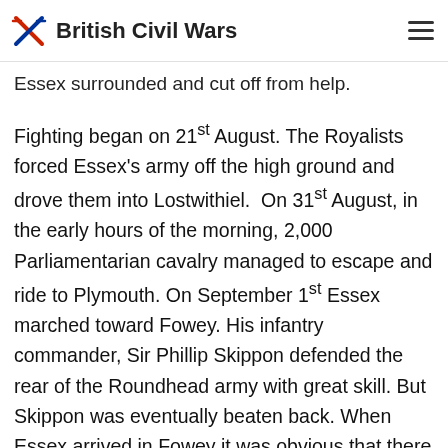British Civil Wars
Essex surrounded and cut off from help.
Fighting began on 21st August. The Royalists forced Essex's army off the high ground and drove them into Lostwithiel. On 31st August, in the early hours of the morning, 2,000 Parliamentarian cavalry managed to escape and ride to Plymouth. On September 1st Essex marched toward Fowey. His infantry commander, Sir Phillip Skippon defended the rear of the Roundhead army with great skill. But Skippon was eventually beaten back. When Essex arrived in Fowey it was obvious that there would be no rescue for his army. Essex escaped in secret by boat and left Skippon in charge. On September 2nd the